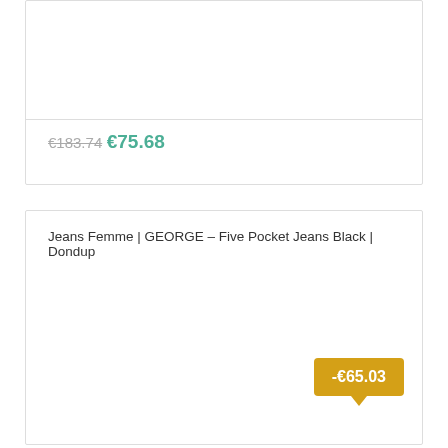€183.74 €75.68
Jeans Femme | GEORGE – Five Pocket Jeans Black | Dondup
-€65.03